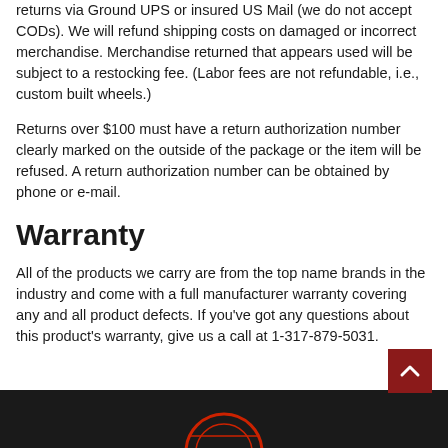returns via Ground UPS or insured US Mail (we do not accept CODs). We will refund shipping costs on damaged or incorrect merchandise. Merchandise returned that appears used will be subject to a restocking fee. (Labor fees are not refundable, i.e., custom built wheels.)
Returns over $100 must have a return authorization number clearly marked on the outside of the package or the item will be refused. A return authorization number can be obtained by phone or e-mail.
Warranty
All of the products we carry are from the top name brands in the industry and come with a full manufacturer warranty covering any and all product defects. If you've got any questions about this product's warranty, give us a call at 1-317-879-5031.
[Figure (logo): Footer with dark background and partial logo visible at bottom]